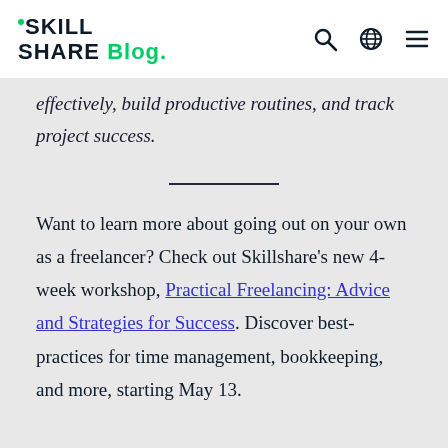SKILL SHAre Blog.
effectively, build productive routines, and track project success.
Want to learn more about going out on your own as a freelancer? Check out Skillshare’s new 4-week workshop, Practical Freelancing: Advice and Strategies for Success. Discover best-practices for time management, bookkeeping, and more, starting May 13.